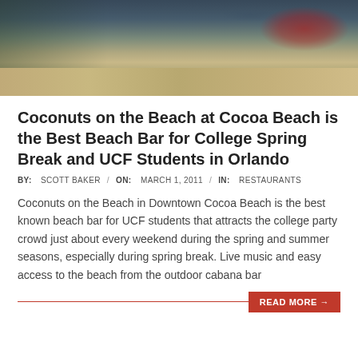[Figure (photo): Beach scene at Cocoa Beach showing sandy beach with fence, red umbrella on right side, coastal structures in background]
Coconuts on the Beach at Cocoa Beach is the Best Beach Bar for College Spring Break and UCF Students in Orlando
BY: SCOTT BAKER / ON: MARCH 1, 2011 / IN: RESTAURANTS
Coconuts on the Beach in Downtown Cocoa Beach is the best known beach bar for UCF students that attracts the college party crowd just about every weekend during the spring and summer seasons, especially during spring break. Live music and easy access to the beach from the outdoor cabana bar
READ MORE →